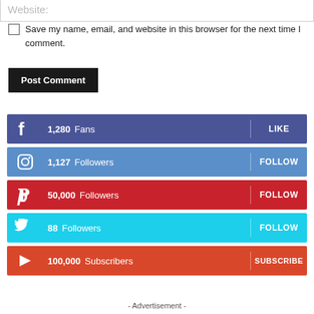Website:
Save my name, email, and website in this browser for the next time I comment.
Post Comment
[Figure (infographic): Social media follower counts: Facebook 1,280 Fans LIKE | Instagram 1,127 Followers FOLLOW | Pinterest 50,000 Followers FOLLOW | Twitter 88 Followers FOLLOW | YouTube 100,000 Subscribers SUBSCRIBE]
- Advertisement -